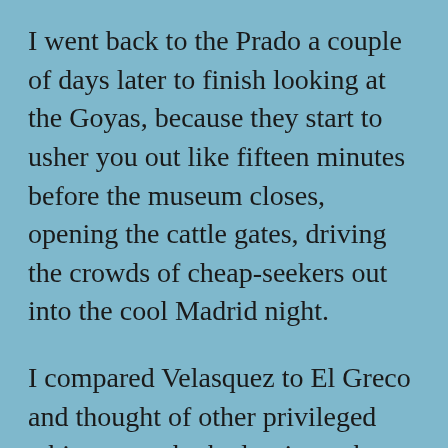I went back to the Prado a couple of days later to finish looking at the Goyas, because they start to usher you out like fifteen minutes before the museum closes, opening the cattle gates, driving the crowds of cheap-seekers out into the cool Madrid night.
I compared Velasquez to El Greco and thought of other privileged white men who had written about Madrid, Hemingway, Ben Lerner. Yes, Velasquez best embodied the Spanish court's ideals—in Las Meninas, he holds a mirror up to life and shows himself in it. El Greco prioritized his personal ideal over